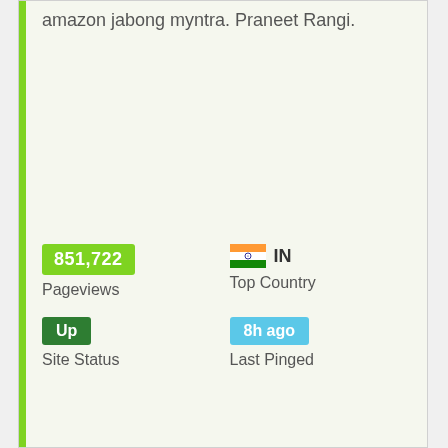amazon jabong myntra. Praneet Rangi.
851,722
Pageviews
IN
Top Country
Up
Site Status
8h ago
Last Pinged